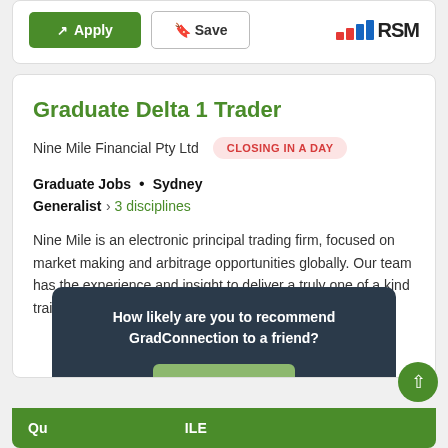[Figure (screenshot): Top card with Apply and Save buttons and RSM logo]
Graduate Delta 1 Trader
Nine Mile Financial Pty Ltd  CLOSING IN A DAY
Graduate Jobs  •  Sydney
Generalist › 3 disciplines
Nine Mile is an electronic principal trading firm, focused on market making and arbitrage opportunities globally. Our team has the experience and insight to deliver a truly one of a kind training program that will allow yo...eer in Tradi...
How likely are you to recommend GradConnection to a friend?